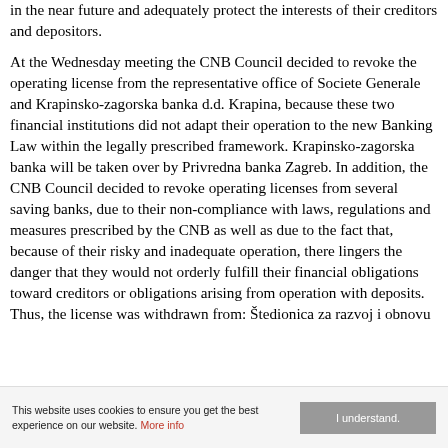in the near future and adequately protect the interests of their creditors and depositors.
At the Wednesday meeting the CNB Council decided to revoke the operating license from the representative office of Societe Generale and Krapinsko-zagorska banka d.d. Krapina, because these two financial institutions did not adapt their operation to the new Banking Law within the legally prescribed framework. Krapinsko-zagorska banka will be taken over by Privredna banka Zagreb. In addition, the CNB Council decided to revoke operating licenses from several saving banks, due to their non-compliance with laws, regulations and measures prescribed by the CNB as well as due to the fact that, because of their risky and inadequate operation, there lingers the danger that they would not orderly fulfill their financial obligations toward creditors or obligations arising from operation with deposits. Thus, the license was withdrawn from: Štedionica za razvoj i obnovu
This website uses cookies to ensure you get the best experience on our website. More info
I understand.